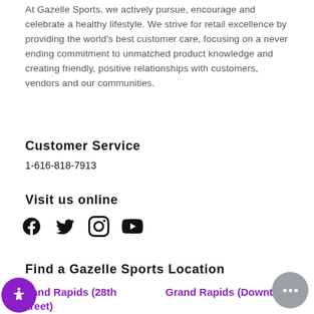At Gazelle Sports, we actively pursue, encourage and celebrate a healthy lifestyle. We strive for retail excellence by providing the world's best customer care, focusing on a never ending commitment to unmatched product knowledge and creating friendly, positive relationships with customers, vendors and our communities.
Customer Service
1-616-818-7913
Visit us online
[Figure (infographic): Social media icons: Facebook, Twitter, Instagram, YouTube]
Find a Gazelle Sports Location
Grand Rapids (28th Street)
Grand Rapids (Downtown)